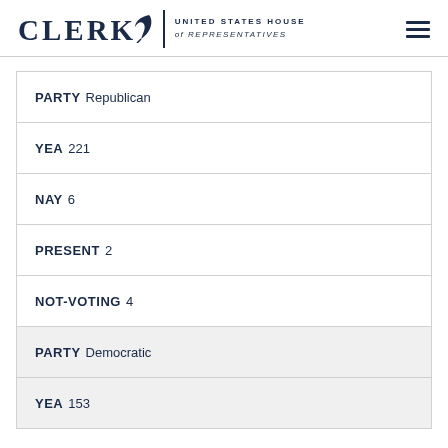CLERK — UNITED STATES HOUSE of REPRESENTATIVES
| Field | Value |
| --- | --- |
| PARTY | Republican |
| YEA | 221 |
| NAY | 6 |
| PRESENT | 2 |
| NOT-VOTING | 4 |
| PARTY | Democratic |
| YEA | 153 |